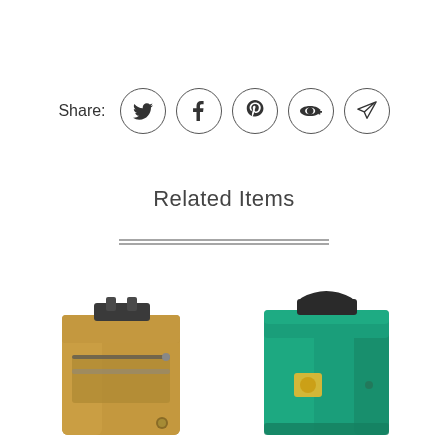[Figure (infographic): Share row with label 'Share:' followed by five circular social media icon buttons: Twitter, Facebook, Pinterest, Google+, and a paper plane (direct share)]
Related Items
[Figure (photo): Tan/khaki colored roll-top backpack with dark buckle and zipper pocket on front]
[Figure (photo): Teal/green colored roll-top backpack with dark handle and small logo patch]